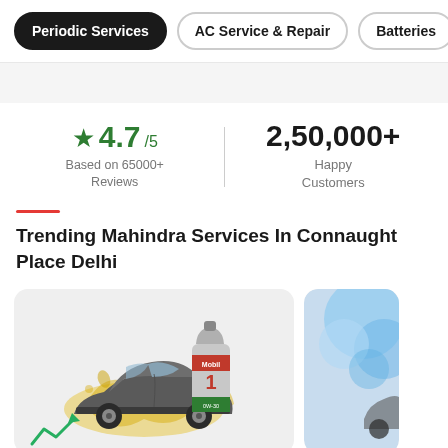Periodic Services | AC Service & Repair | Batteries | Tyr...
★ 4.7/5
Based on 65000+ Reviews
2,50,000+
Happy Customers
Trending Mahindra Services In Connaught Place Delhi
[Figure (illustration): Card showing a car with oil splash and Mobil 1 oil bottle]
[Figure (illustration): Partial card showing blue/water themed image (partially visible)]